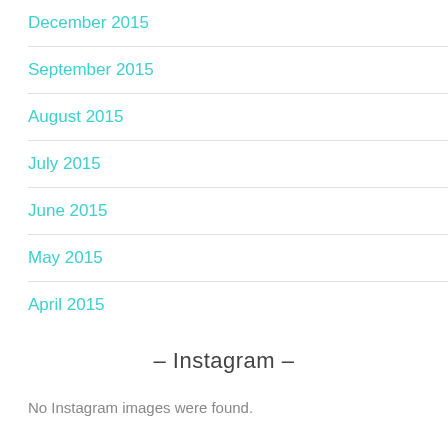December 2015
September 2015
August 2015
July 2015
June 2015
May 2015
April 2015
– Instagram –
No Instagram images were found.